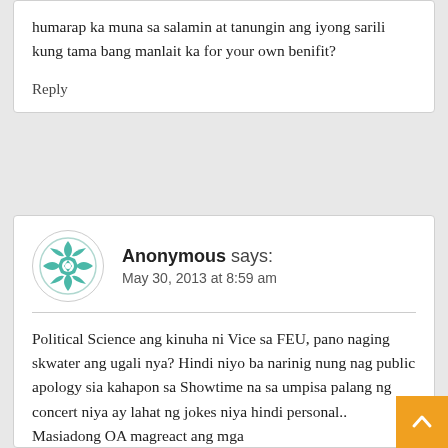humarap ka muna sa salamin at tanungin ang iyong sarili kung tama bang manlait ka for your own benifit?
Reply
Anonymous says:
May 30, 2013 at 8:59 am
Political Science ang kinuha ni Vice sa FEU, pano naging skwater ang ugali nya? Hindi niyo ba narinig nung nag public apology sia kahapon sa Showtime na sa umpisa palang ng concert niya ay lahat ng jokes niya hindi personal.. Masiadong OA magreact ang mga